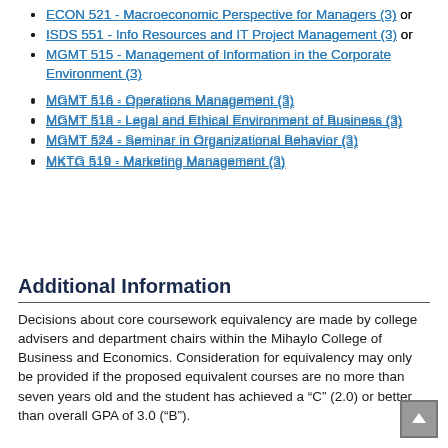ECON 521 - Macroeconomic Perspective for Managers (3) or
ISDS 551 - Info Resources and IT Project Management (3) or
MGMT 515 - Management of Information in the Corporate Environment (3)
MGMT 516 - Operations Management (3)
MGMT 518 - Legal and Ethical Environment of Business (3)
MGMT 524 - Seminar in Organizational Behavior (3)
MKTG 519 - Marketing Management (3)
Additional Information
Decisions about core coursework equivalency are made by college advisers and department chairs within the Mihaylo College of Business and Economics. Consideration for equivalency may only be provided if the proposed equivalent courses are no more than seven years old and the student has achieved a “C” (2.0) or better than overall GPA of 3.0 (“B”).